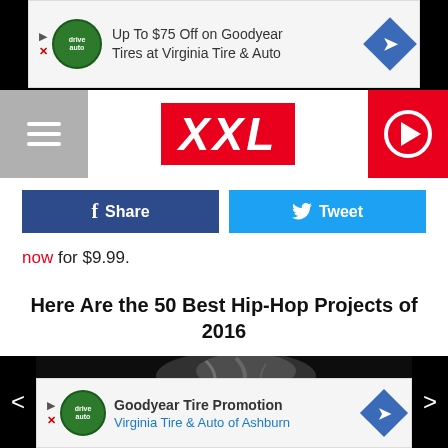[Figure (screenshot): Advertisement banner: 'Up To $75 Off on Goodyear Tires at Virginia Tire & Auto' with Drivealot Auto logo and directional arrow icon]
[Figure (logo): XXL magazine logo in red with hamburger menu icon on left and red play button circle on right]
[Figure (screenshot): Facebook Share button (dark blue) and Twitter Tweet button (light blue) side by side]
now for $9.99.
Here Are the 50 Best Hip-Hop Projects of 2016
[Figure (photo): Dark image of a figure with large black wings spread open, smoke or mist above, against a dark moody background. Navigation arrows (< >) on left and right sides.]
[Figure (screenshot): Advertisement banner: 'Goodyear Tire Promotion' / 'Virginia Tire & Auto of Ashburn' with Drivealot Auto logo and directional arrow icon]